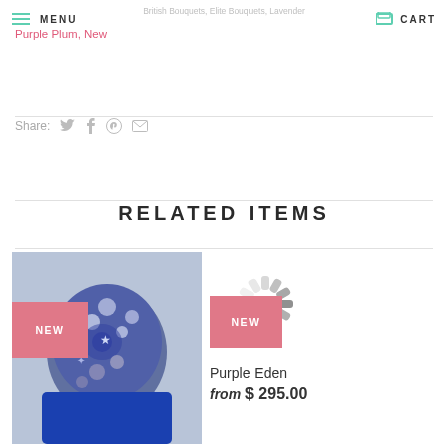MENU | CART
British Bouquets, Elite Bouquets, Lavender Purple Plum, New
Share:
RELATED ITEMS
[Figure (photo): A brooch bouquet with blue and silver crystal decorations]
NEW
[Figure (infographic): Loading spinner graphic]
NEW
Purple Eden
from $ 295.00